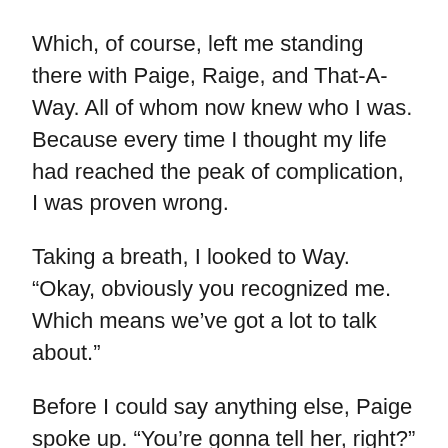Which, of course, left me standing there with Paige, Raige, and That-A-Way. All of whom now knew who I was. Because every time I thought my life had reached the peak of complication, I was proven wrong.
Taking a breath, I looked to Way. “Okay, obviously you recognized me. Which means we’ve got a lot to talk about.”
Before I could say anything else, Paige spoke up. “You’re gonna tell her, right?” But she wasn’t addressing me. Her attention was on Way.
“You mean you—” The other girl stopped herself and shook her head. “Of course you know. Who am I kidding?”
With a sigh, she turned back to me. Her hand rose to her